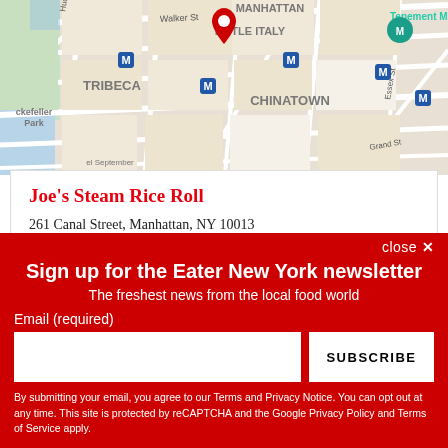[Figure (map): Google Maps screenshot showing lower Manhattan area including Tribeca, Chinatown, Little Italy neighborhoods with street grid, subway markers, and a red location pin marker.]
Joe's Steam Rice Roll
261 Canal Street, Manhattan, NY 10013
close ×
Sign up for the Eater New York newsletter
The freshest news from the local food world
Email (required)
SUBSCRIBE
By submitting your email, you agree to our Terms and Privacy Notice. You can opt out at any time. This site is protected by reCAPTCHA and the Google Privacy Policy and Terms of Service apply.